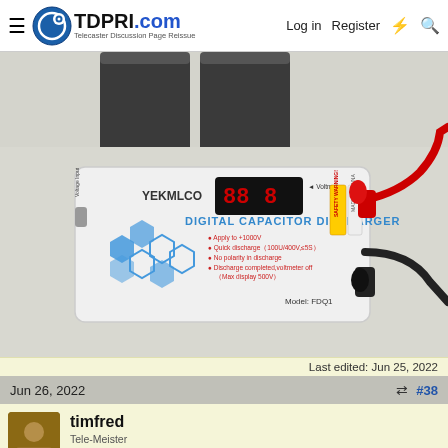TDPRI.com Telecaster Discussion Page Reissue — Log in | Register
[Figure (photo): Photo of a YEKMLCO Digital Capacitor Discharger device (Model FDQ1) with red and black test leads, shown with two large capacitors in the background. White rectangular device with blue hexagon graphics and a red LED display.]
Last edited: Jun 25, 2022
Jun 26, 2022   #38
timfred